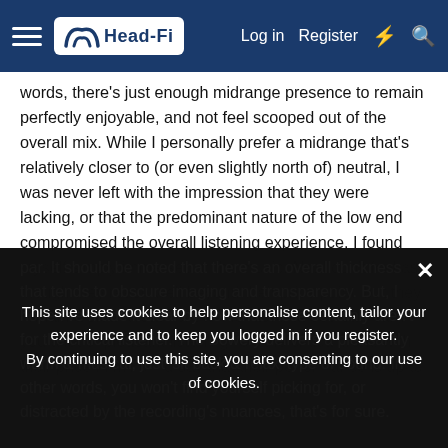Head-Fi | Log in | Register
words, there's just enough midrange presence to remain perfectly enjoyable, and not feel scooped out of the overall mix. While I personally prefer a midrange that's relatively closer to (or even slightly north of) neutral, I was never left with the impression that they were lacking, or that the predominant nature of the low end compromised the overall listening experience. I found myself simply immersed in the music. No, I don't feel as though they reach well beyond their price point, but they remain a clear testament to the fact that $50 can earn you a lot of pleasant listening. On the critical front, with their price in mind, I'd say that their performance is up to
par. It should be noted that there's an overall thickness that tends to obscure imaging and transparency. But, I hope I've made it clear by now that these certainly aren't for the critical listener. The Bowery delivers a pleasantly warm & musical, just 'sit back & relax' type of sound. In other words, you won't find yourself picking for, or distracted by the recording's nuances, that's for sure.
This site uses cookies to help personalise content, tailor your experience and to keep you logged in if you register. By continuing to use this site, you are consenting to our use of cookies.